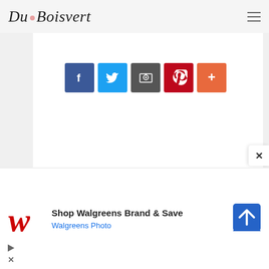Du Boisvert
[Figure (screenshot): Social media share buttons: Facebook (blue), Twitter (light blue), Email/share (dark gray), Pinterest (red), Google+ or share (orange-red)]
[Figure (screenshot): White content area (blank/empty)]
[Figure (infographic): Advertisement: Shop Walgreens Brand & Save - Walgreens Photo, with Walgreens W logo and navigation arrow icon]